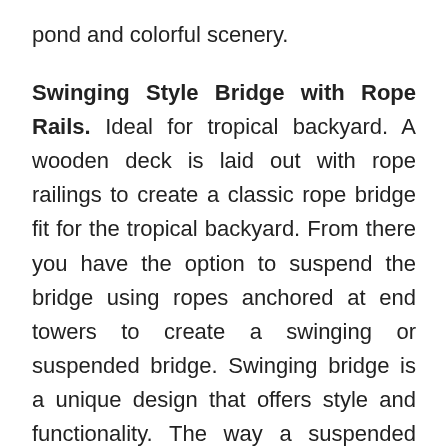pond and colorful scenery.
Swinging Style Bridge with Rope Rails. Ideal for tropical backyard. A wooden deck is laid out with rope railings to create a classic rope bridge fit for the tropical backyard. From there you have the option to suspend the bridge using ropes anchored at end towers to create a swinging or suspended bridge. Swinging bridge is a unique design that offers style and functionality. The way a suspended bridge can be built high up allows them to be able to span a great distance, making it ideal for small gardens. Whether it crosses an actual stream or a garden of flowers, this type of bridge can easily fit into any theme.